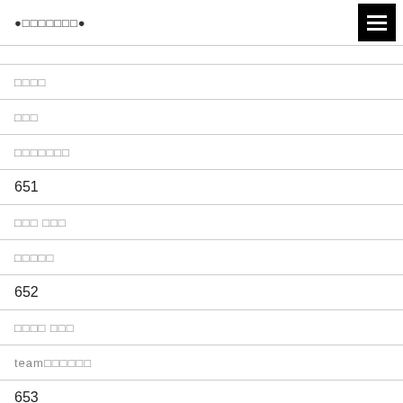●□□□□□□□●
□□□□
□□□
□□□□□□□
651
□□□ □□□
□□□□□
652
□□□□ □□□
team□□□□□□
653